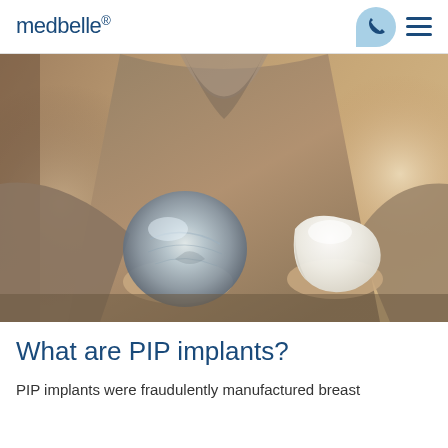medbelle®
[Figure (photo): A woman wearing a grey long-sleeve top, holding two breast implants — one transparent/gel type on the left and one white/silicone teardrop type on the right, photographed from the torso down.]
What are PIP implants?
PIP implants were fraudulently manufactured breast